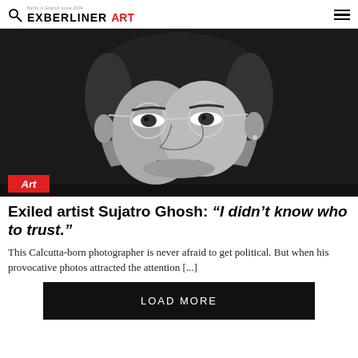EXBERLINER ART
[Figure (photo): Black and white portrait photograph of Sujatro Ghosh, a man wearing round glasses and a dark turtleneck, looking directly at the camera with a serious expression]
Exiled artist Sujatro Ghosh: “I didn’t know who to trust.”
This Calcutta-born photographer is never afraid to get political. But when his provocative photos attracted the attention [...]